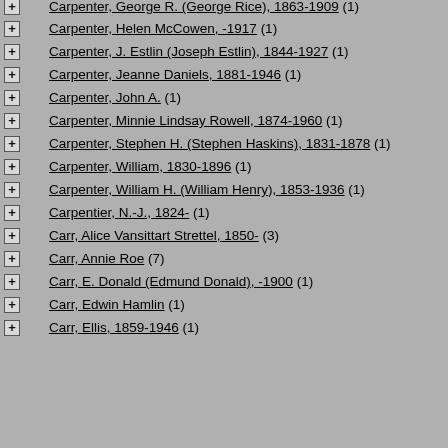Carpenter, George R. (George Rice), 1863-1909 (1)
Carpenter, Helen McCowen, -1917 (1)
Carpenter, J. Estlin (Joseph Estlin), 1844-1927 (1)
Carpenter, Jeanne Daniels, 1881-1946 (1)
Carpenter, John A. (1)
Carpenter, Minnie Lindsay Rowell, 1874-1960 (1)
Carpenter, Stephen H. (Stephen Haskins), 1831-1878 (1)
Carpenter, William, 1830-1896 (1)
Carpenter, William H. (William Henry), 1853-1936 (1)
Carpentier, N.-J., 1824- (1)
Carr, Alice Vansittart Strettel, 1850- (3)
Carr, Annie Roe (7)
Carr, E. Donald (Edmund Donald), -1900 (1)
Carr, Edwin Hamlin (1)
Carr, Ellis, 1859-1946 (1)